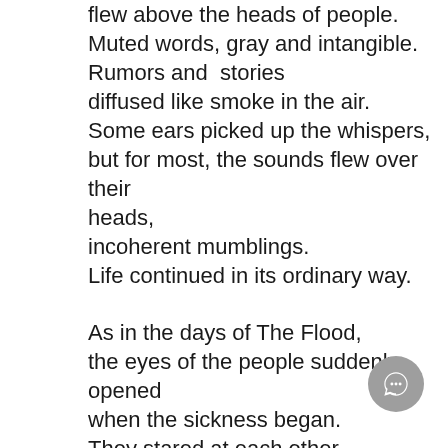flew above the heads of people.
Muted words, gray and intangible.
Rumors and  stories
diffused like smoke in the air.
Some ears picked up the whispers,
but for most, the sounds flew over their
heads,
incoherent mumblings.
Life continued in its ordinary way.

As in the days of The Flood,
the eyes of the people suddenly
opened
when the sickness began.
They stared at each other,
for wasn't it just an ordinary day
yesterday?
But the ordinary had become a thing of